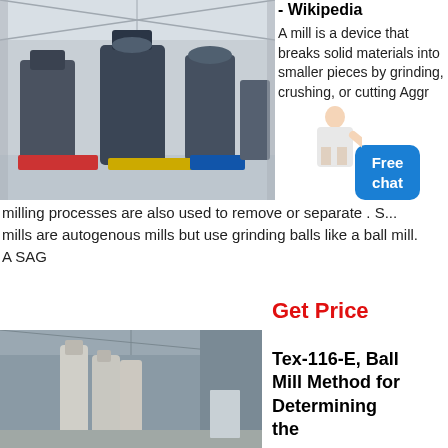[Figure (photo): Industrial facility interior showing large grinding/milling machines on a factory floor with high ceiling and bright lighting]
- Wikipedia
A mill is a device that breaks solid materials into smaller pieces by grinding, crushing, or cutting Aggr... Free chat
milling processes are also used to remove or separate . S... mills are autogenous mills but use grinding balls like a ball mill. A SAG
Get Price
[Figure (photo): Industrial building interior with large cylindrical equipment/cyclone separators and metal roof structure]
Tex-116-E, Ball Mill Method for Determining the